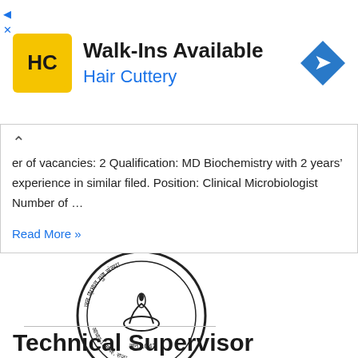[Figure (logo): Hair Cuttery advertisement banner with HC logo on yellow background and navigation arrow icon]
er of vacancies: 2 Qualification: MD Biochemistry with 2 years' experience in similar filed. Position: Clinical Microbiologist Number of …
Read More »
[Figure (logo): Circular organizational seal/logo with text in Hindi and English, Est. 1947, with lamp/diya symbol in center]
Technical Supervisor